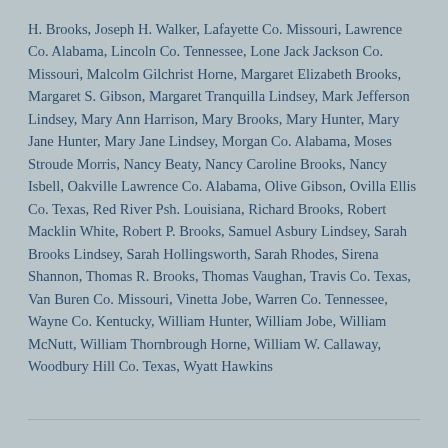H. Brooks, Joseph H. Walker, Lafayette Co. Missouri, Lawrence Co. Alabama, Lincoln Co. Tennessee, Lone Jack Jackson Co. Missouri, Malcolm Gilchrist Horne, Margaret Elizabeth Brooks, Margaret S. Gibson, Margaret Tranquilla Lindsey, Mark Jefferson Lindsey, Mary Ann Harrison, Mary Brooks, Mary Hunter, Mary Jane Hunter, Mary Jane Lindsey, Morgan Co. Alabama, Moses Stroude Morris, Nancy Beaty, Nancy Caroline Brooks, Nancy Isbell, Oakville Lawrence Co. Alabama, Olive Gibson, Ovilla Ellis Co. Texas, Red River Psh. Louisiana, Richard Brooks, Robert Macklin White, Robert P. Brooks, Samuel Asbury Lindsey, Sarah Brooks Lindsey, Sarah Hollingsworth, Sarah Rhodes, Sirena Shannon, Thomas R. Brooks, Thomas Vaughan, Travis Co. Texas, Van Buren Co. Missouri, Vinetta Jobe, Warren Co. Tennessee, Wayne Co. Kentucky, William Hunter, William Jobe, William McNutt, William Thornbrough Horne, William W. Callaway, Woodbury Hill Co. Texas, Wyatt Hawkins